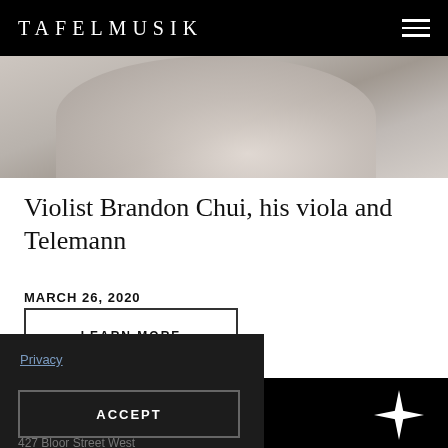TAFELMUSIK
[Figure (photo): Blurred photo of a person in white clothing, cropped at top, warm neutral tones]
Violist Brandon Chui, his viola and Telemann
MARCH 26, 2020
LEARN MORE
Privacy
ACCEPT
[Figure (logo): White four-pointed star / diamond shape]
TAFELMUSIK
427 Bloor Street West